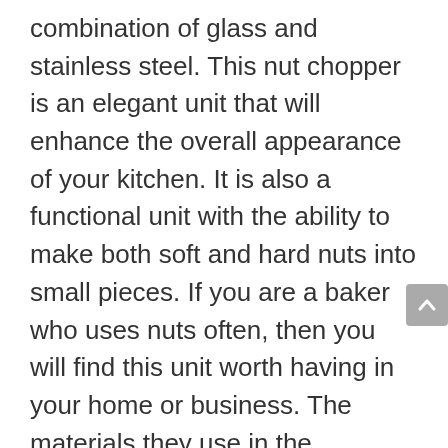combination of glass and stainless steel. This nut chopper is an elegant unit that will enhance the overall appearance of your kitchen. It is also a functional unit with the ability to make both soft and hard nuts into small pieces. If you are a baker who uses nuts often, then you will find this unit worth having in your home or business. The materials they use in the construction are top-notch, guaranteeing durability and efficiency of the unit.
This unit has been in the market since the beginning of 2014 and has positive